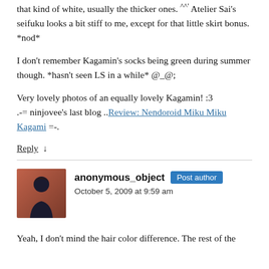that kind of white, usually the thicker ones. ^^' Atelier Sai's seifuku looks a bit stiff to me, except for that little skirt bonus. *nod*
I don't remember Kagamin's socks being green during summer though. *hasn't seen LS in a while* @_@;
Very lovely photos of an equally lovely Kagamin! :3 .-= ninjovee's last blog ..Review: Nendoroid Miku Miku Kagami =-.
Reply ↓
anonymous_object Post author October 5, 2009 at 9:59 am
Yeah, I don't mind the hair color difference. The rest of the